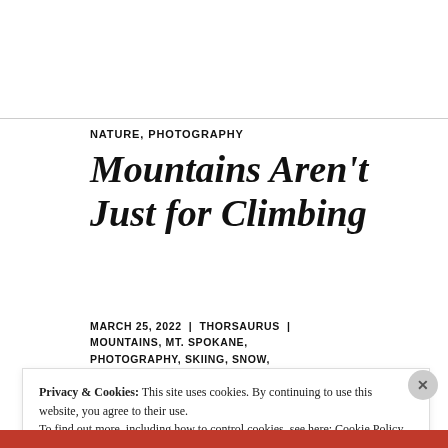NATURE, PHOTOGRAPHY
Mountains Aren't Just for Climbing
MARCH 25, 2022 | THORSAURUS | MOUNTAINS, MT. SPOKANE, PHOTOGRAPHY, SKIING, SNOW,
Privacy & Cookies: This site uses cookies. By continuing to use this website, you agree to their use. To find out more, including how to control cookies, see here: Cookie Policy
Close and accept